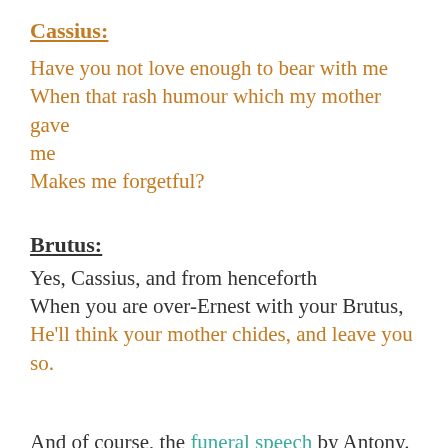Cassius:
Have you not love enough to bear with me
When that rash humour which my mother gave me
Makes me forgetful?
Brutus:
Yes, Cassius, and from henceforth
When you are over-Ernest with your Brutus,
He'll think your mother chides, and leave you so.
And of course, the funeral speech by Antony.
Summary